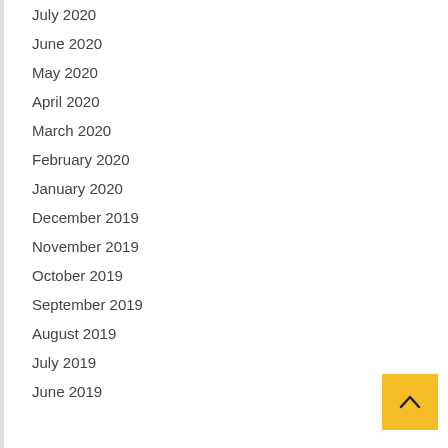July 2020
June 2020
May 2020
April 2020
March 2020
February 2020
January 2020
December 2019
November 2019
October 2019
September 2019
August 2019
July 2019
June 2019